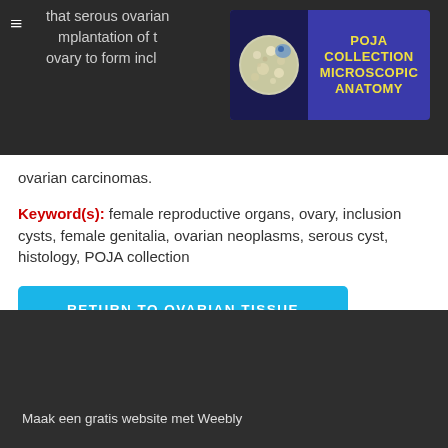[Figure (logo): POJA Collection Microscopic Anatomy logo with circular microscopy image and blue/yellow text banner]
that serous ovarian... implantation of t... into the ovary to form inclusion cysts (is claimed). ...and progress into ovarian carcinomas.
Keyword(s): female reproductive organs, ovary, inclusion cysts, female genitalia, ovarian neoplasms, serous cyst, histology, POJA collection
RETURN TO OVARIAN TISSUE IMAGES
Maak een gratis website met Weebly